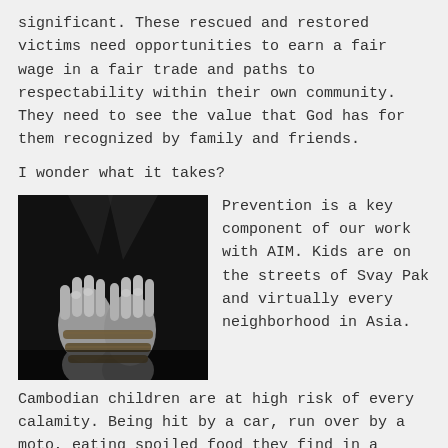significant.  These rescued and restored victims need opportunities to earn a fair wage in a fair trade and paths to respectability within their own community.  They need to see the value that God has for them recognized by family and friends.
I wonder what it takes?
[Figure (photo): Black and white photo of hands bound together with rope]
Prevention is a key component of our work with AIM.  Kids are on the streets of Svay Pak and virtually every neighborhood in Asia.
Cambodian children are at high risk of every calamity.  Being hit by a car, run over by a moto, eating spoiled food they find in a trash pile at the curb and yes, stolen to be trafficked.  Every day in Cambodia this is reality.  AIM has rented, through the generosity of committed donors, buildings in the community of Svay Pak (about 80,000 people).  Buildings that in some